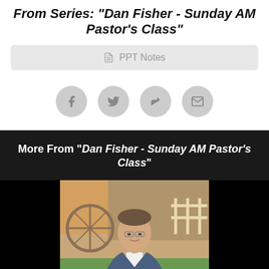From Series: "Dan Fisher - Sunday AM Pastor's Class"
PPT Notes
[Figure (screenshot): Social share buttons: Facebook, Twitter, Share/Forward, Email — circular grey icons]
More From "Dan Fisher - Sunday AM Pastor's Class"
[Figure (photo): Photo of a middle-aged man in a blue blazer and white shirt, sitting outdoors with a rustic stone and wood background including a wagon wheel. Dark letterboxed sides.]